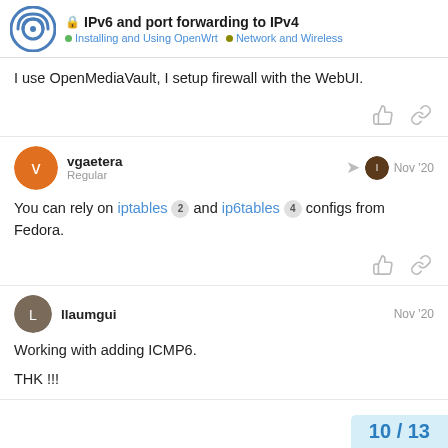IPv6 and port forwarding to IPv4 | Installing and Using OpenWrt | Network and Wireless
I use OpenMediaVault, I setup firewall with the WebUI.
vgaetera Regular Nov '20
You can rely on iptables 2 and ip6tables 4 configs from Fedora.
llaumgui Nov '20
Working with adding ICMP6.
THK !!!
10 / 13